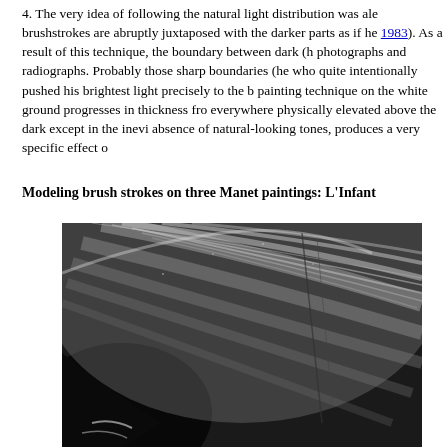4. The very idea of following the natural light distribution was ale... brushstrokes are abruptly juxtaposed with the darker parts as if he... 1983). As a result of this technique, the boundary between dark (h... photographs and radiographs. Probably those sharp boundaries (he... who quite intentionally pushed his brightest light precisely to the b... painting technique on the white ground progresses in thickness fro... everywhere physically elevated above the dark except in the inevi... absence of natural-looking tones, produces a very specific effect o...
Modeling brush strokes on three Manet paintings: L'Infant...
[Figure (photo): Black and white photograph or radiograph showing brushstroke texture on a Manet painting surface, with curved sweeping strokes visible against dark areas.]